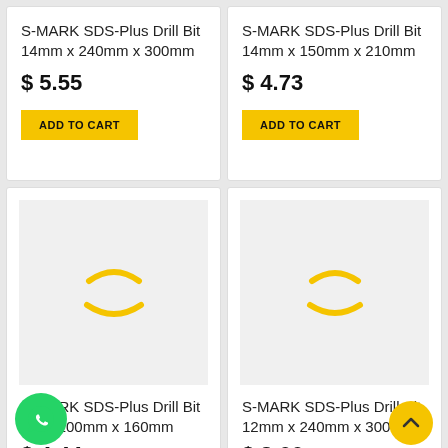S-MARK SDS-Plus Drill Bit 14mm x 240mm x 300mm
$ 5.55
ADD TO CART
S-MARK SDS-Plus Drill Bit 14mm x 150mm x 210mm
$ 4.73
ADD TO CART
[Figure (other): Product image loading spinner (yellow arc) for S-MARK SDS-Plus Drill Bit]
S-MARK SDS-Plus Drill Bit 1m x 100mm x 160mm
$ 4.44
[Figure (other): Product image loading spinner (yellow arc) for S-MARK SDS-Plus Drill Bit]
S-MARK SDS-Plus Drill Bit 12mm x 240mm x 300mm
$ 3.66